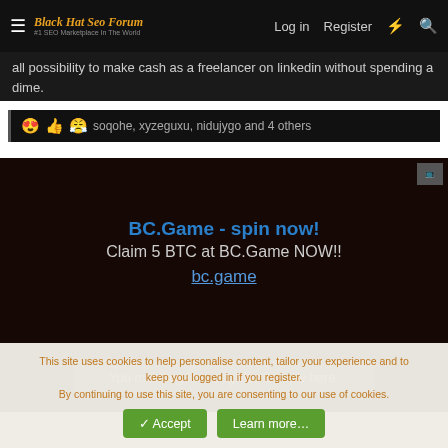Black Hat Seo Forum — Log in | Register
all possibility to make cash as a freelancer on linkedin without spending a dime.
😍👍😤 soqohe, xyzeguxu, nidujygo and 4 others
[Figure (other): Advertisement banner for BC.Game casino: 'BC.Game - spin now! Claim 5 BTC at BC.Game NOW!! bc.game']
You must log in or register to reply here.
This site uses cookies to help personalise content, tailor your experience and to keep you logged in if you register. By continuing to use this site, you are consenting to our use of cookies.
✓ Accept | Learn more…